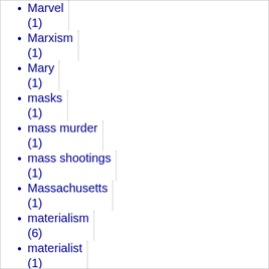Marvel (1)
Marxism (1)
Mary (1)
masks (1)
mass murder (1)
mass shootings (1)
Massachusetts (1)
materialism (6)
materialist (1)
Matt Walsh (1)
Matthewn Sheperd (1)